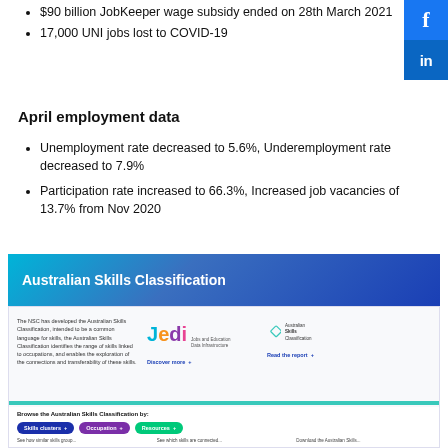$90 billion JobKeeper wage subsidy ended on 28th March 2021
17,000 UNI jobs lost to COVID-19
April employment data
Unemployment rate decreased to 5.6%, Underemployment rate decreased to 7.9%
Participation rate increased to 66.3%, Increased job vacancies of 13.7% from Nov 2020
[Figure (screenshot): Australian Skills Classification website screenshot showing the Jedi (Jobs and Education Data Infrastructure) logo, Australian Skills Classification logo, and navigation options including Skills clusters, Occupation, and Resources buttons with Browse the Australian Skills Classification by: heading.]